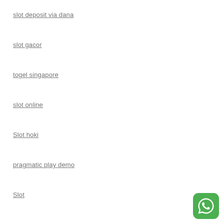slot deposit via dana
slot gacor
togel singapore
slot online
Slot hoki
pragmatic play demo
Slot
[Figure (logo): WhatsApp green icon with speech bubble and phone symbol, positioned at bottom right corner]